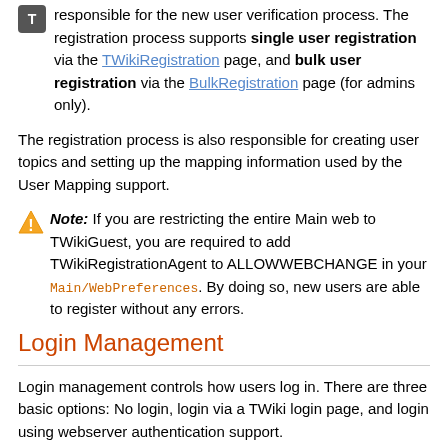responsible for the new user verification process. The registration process supports single user registration via the TWikiRegistration page, and bulk user registration via the BulkRegistration page (for admins only).
The registration process is also responsible for creating user topics and setting up the mapping information used by the User Mapping support.
Note: If you are restricting the entire Main web to TWikiGuest, you are required to add TWikiRegistrationAgent to ALLOWWEBCHANGE in your Main/WebPreferences. By doing so, new users are able to register without any errors.
Login Management
Login management controls how users log in. There are three basic options: No login, login via a TWiki login page, and login using webserver authentication support.
No Login (select none in configure)